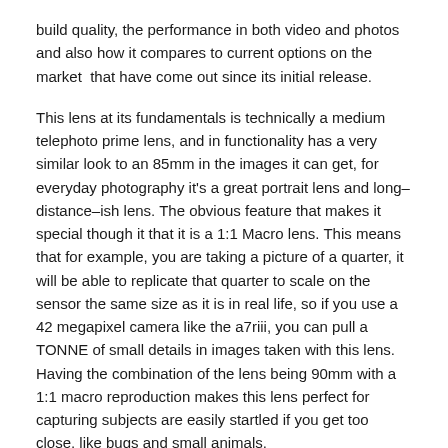build quality, the performance in both video and photos and also how it compares to current options on the market  that have come out since its initial release.
This lens at its fundamentals is technically a medium telephoto prime lens, and in functionality has a very similar look to an 85mm in the images it can get, for everyday photography it’s a great portrait lens and long–distance–ish lens. The obvious feature that makes it special though it that it is a 1:1 Macro lens. This means that for example, you are taking a picture of a quarter, it will be able to replicate that quarter to scale on the sensor the same size as it is in real life, so if you use a 42 megapixel camera like the a7riii, you can pull a TONNE of small details in images taken with this lens. Having the combination of the lens being 90mm with a 1:1 macro reproduction makes this lens perfect for capturing subjects are easily startled if you get too close, like bugs and small animals.
Build Quality: